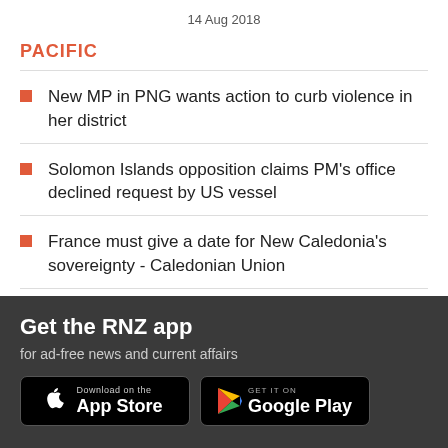14 Aug 2018
PACIFIC
New MP in PNG wants action to curb violence in her district
Solomon Islands opposition claims PM's office declined request by US vessel
France must give a date for New Caledonia's sovereignty - Caledonian Union
[Figure (infographic): Get the RNZ app promotional banner with App Store and Google Play download buttons]